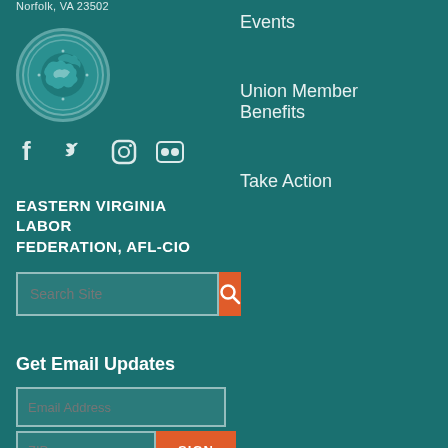Norfolk, VA 23502
[Figure (logo): American Federation of Labor - Congress of Industrial Organizations (AFL-CIO) circular seal logo]
[Figure (infographic): Social media icons: Facebook, Twitter, Instagram, Flickr]
EASTERN VIRGINIA LABOR FEDERATION, AFL-CIO
Search Site
Get Email Updates
Email Address
ZIP
Events
Union Member Benefits
Take Action